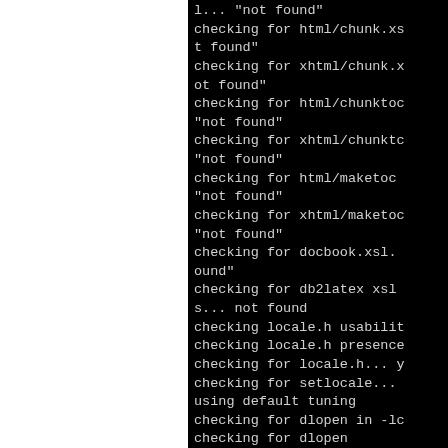[Figure (screenshot): Terminal/console output showing configure script checks for various XSL stylesheets and libraries (html/chunk.xsl, xhtml/chunk.xsl, html/chunktoc, xhtml/chunktoc, html/maketoc, xhtml/maketoc, docbook.xsl, db2latex xsl, locale.h usability, locale.h presence, locale.h, setlocale, default tuning, dlopen), most returning 'not found'.]